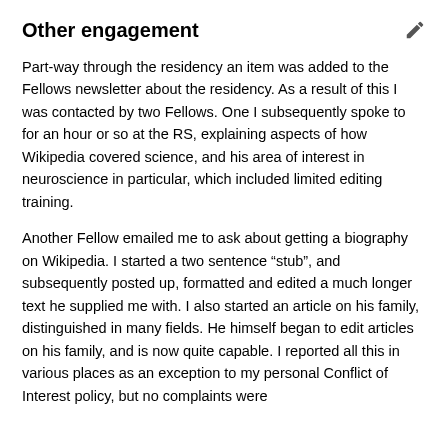Other engagement
Part-way through the residency an item was added to the Fellows newsletter about the residency. As a result of this I was contacted by two Fellows. One I subsequently spoke to for an hour or so at the RS, explaining aspects of how Wikipedia covered science, and his area of interest in neuroscience in particular, which included limited editing training.
Another Fellow emailed me to ask about getting a biography on Wikipedia. I started a two sentence “stub”, and subsequently posted up, formatted and edited a much longer text he supplied me with. I also started an article on his family, distinguished in many fields. He himself began to edit articles on his family, and is now quite capable. I reported all this in various places as an exception to my personal Conflict of Interest policy, but no complaints were